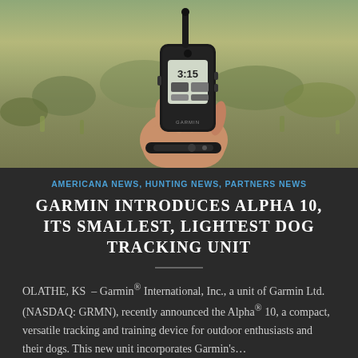[Figure (photo): A hand holding a black Garmin handheld GPS tracking device with antenna, showing a display with time 3:15. A black dog tracking collar/wristband is visible on the wrist. Outdoor background with dry grassland and scrubby bushes.]
AMERICANA NEWS, HUNTING NEWS, PARTNERS NEWS
GARMIN INTRODUCES ALPHA 10, ITS SMALLEST, LIGHTEST DOG TRACKING UNIT
OLATHE, KS – Garmin® International, Inc., a unit of Garmin Ltd. (NASDAQ: GRMN), recently announced the Alpha® 10, a compact, versatile tracking and training device for outdoor enthusiasts and their dogs. This new unit incorporates Garmin's…